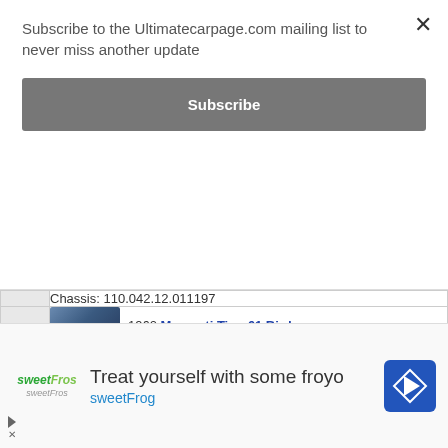Subscribe to the Ultimatecarpage.com mailing list to never miss another update
Subscribe
| # | Car |
| --- | --- |
|  | Chassis: 110.042.12.011197 |
| 292 | 1960 Maserati Tipo 61 Birdcage
Chassis: 2470 |
| 293 | 2007 Porsche 997 GT3 RS
Chassis: WP0ZZZ99Z75791772 |
| 294 | 1971 Porsche 911 ST Rally
Chassis: 911 130 0647 |
| 295 | 1949 Fiat 1100S MM Berlinetta
Chassis: 110005 5000 065 |
| 5 | 1957 Aston Martin DB2/4 MK III
Chassis: ... |
[Figure (screenshot): Advertisement banner for sweetFrog frozen yogurt]
Treat yourself with some froyo
sweetFrog